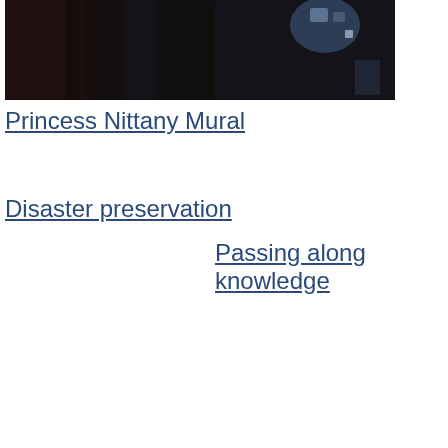[Figure (photo): Dark nighttime street scene photo with trees and distant light source, possibly urban setting]
Princess Nittany Mural
Disaster preservation
Passing along knowledge